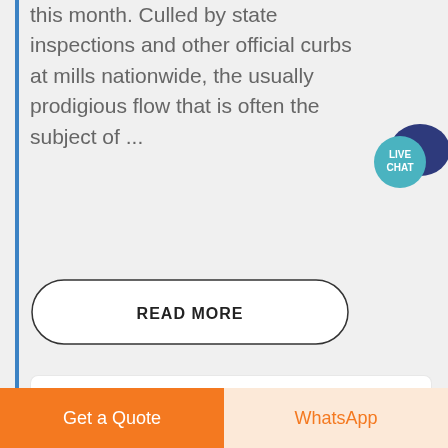this month. Culled by state inspections and other official curbs at mills nationwide, the usually prodigious flow that is often the subject of ...
[Figure (other): READ MORE button with rounded border outline]
[Figure (other): Live Chat speech bubble icon in teal/dark blue]
[Figure (other): Get a Quote orange button and WhatsApp peach button at bottom of screen]